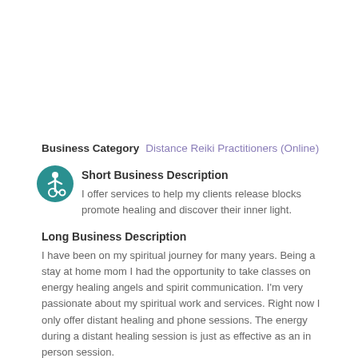Business Category   Distance Reiki Practitioners (Online)
Short Business Description
[Figure (illustration): Accessibility icon: teal circle with white wheelchair user figure]
I offer services to help my clients release blocks promote healing and discover their inner light.
Long Business Description
I have been on my spiritual journey for many years. Being a stay at home mom I had the opportunity to take classes on energy healing angels and spirit communication. I'm very passionate about my spiritual work and services. Right now I only offer distant healing and phone sessions. The energy during a distant healing session is just as effective as an in person session.